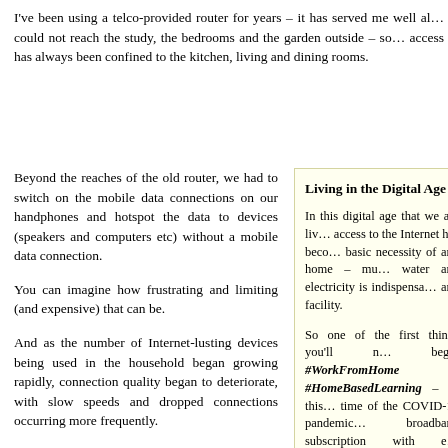I've been using a telco-provided router for years – it has served me well al… could not reach the study, the bedrooms and the garden outside – so… access has always been confined to the kitchen, living and dining rooms.
Beyond the reaches of the old router, we had to switch on the mobile data connections on our handphones and hotspot the data to devices (speakers and computers etc) without a mobile data connection.
You can imagine how frustrating and limiting (and expensive) that can be.
And as the number of Internet-lusting devices being used in the household began growing rapidly, connection quality began to deteriorate, with slow speeds and dropped connections occurring more frequently.
Which was why I decided to upgrade the old router with the Linksys E9450 WiFi6 EasyMesh Ro…
Living in the Digital Age
In this digital age that we are liv… access to the Internet has beco… basic necessity of any home – mu… water and electricity is indispensa… any facility.
So one of the first things you'll n… begin #WorkFromHome #HomeBasedLearning – in this… time of the COVID-19 pandemic… broadband subscription with e… bandwidth to support the data-a… needs of the entire household.
Once you've subscribed to a broa… subscription from an Internet S… Provider (ISP), you'll need to se… robust Local Area Network (LA… channel the Internet access to d… around the household – just lik…